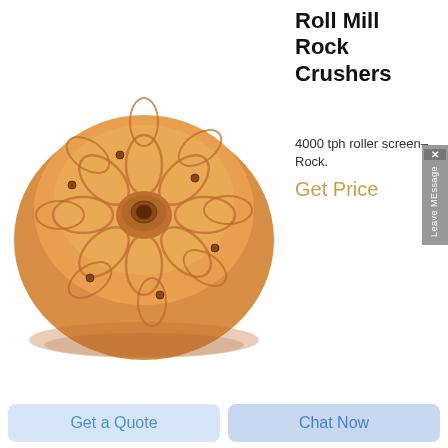[Figure (photo): Golden/copper colored circular roll mill disk with engraved petal/leaf patterns and central threaded hole, viewed from above]
Roll Mill Rock Crushers
4000 tph roller screen– Rock.
Get Price
[Figure (photo): Steel/metallic circular trammell milling machine component with threaded base and large central opening, viewed from above at angle]
Trammell Milling Machine: Tools, Indicators,
Get a Quote
Chat Now